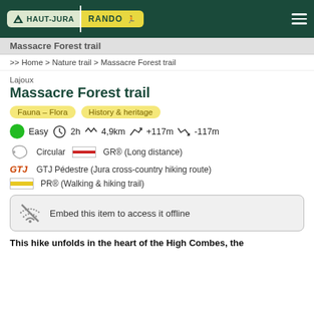[Figure (logo): Haut-Jura Rando logo on dark green header bar with hamburger menu icon]
Massacre Forest trail
>> Home > Nature trail > Massacre Forest trail
Lajoux
Massacre Forest trail
Fauna – Flora
History & heritage
Easy  2h  4,9km  +117m  -117m
Circular   GR® (Long distance)
GTJ Pédestre (Jura cross-country hiking route)
PR® (Walking & hiking trail)
Embed this item to access it offline
This hike unfolds in the heart of the High Combes, the